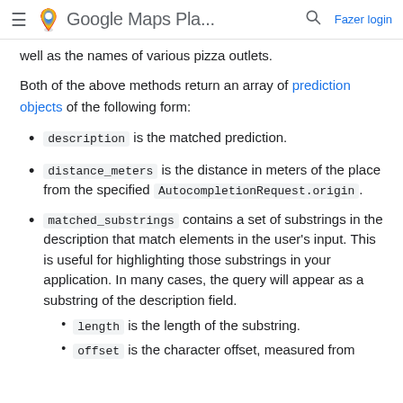Google Maps Pla... — Fazer login
well as the names of various pizza outlets.
Both of the above methods return an array of prediction objects of the following form:
description is the matched prediction.
distance_meters is the distance in meters of the place from the specified AutocompletionRequest.origin.
matched_substrings contains a set of substrings in the description that match elements in the user's input. This is useful for highlighting those substrings in your application. In many cases, the query will appear as a substring of the description field.
length is the length of the substring.
offset is the character offset, measured from